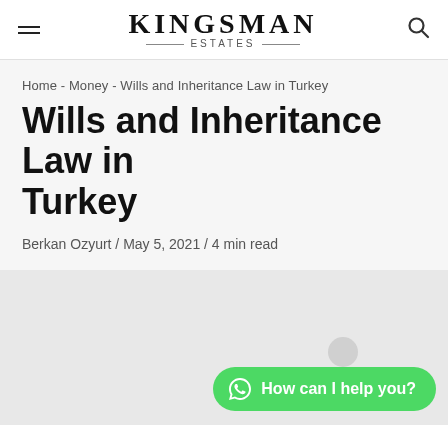KINGSMAN ESTATES
Home - Money - Wills and Inheritance Law in Turkey
Wills and Inheritance Law in Turkey
Berkan Ozyurt / May 5, 2021 / 4 min read
[Figure (photo): Article header image placeholder (light grey background) with WhatsApp chat button 'How can I help you?' in green at bottom right]